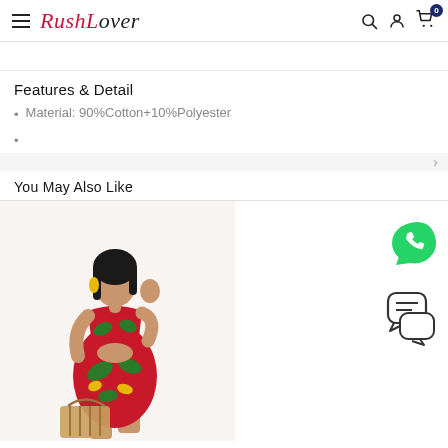RushLover — navigation bar with hamburger menu, logo, search, account, cart icons
Features & Detail
• Material: 90%Cotton+10%Polyester
•
You May Also Like
[Figure (photo): Woman wearing a red tropical print two-piece crop top and skirt set, holding a woven basket bag]